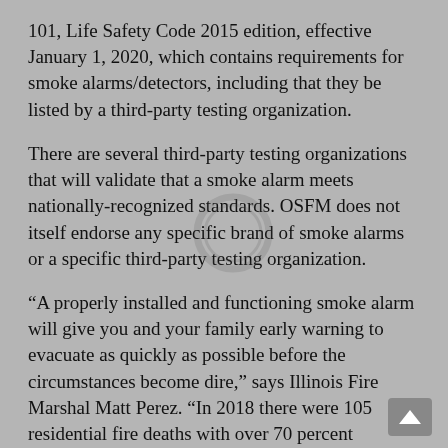101, Life Safety Code 2015 edition, effective January 1, 2020, which contains requirements for smoke alarms/detectors, including that they be listed by a third-party testing organization.
There are several third-party testing organizations that will validate that a smoke alarm meets nationally-recognized standards. OSFM does not itself endorse any specific brand of smoke alarms or a specific third-party testing organization.
“A properly installed and functioning smoke alarm will give you and your family early warning to evacuate as quickly as possible before the circumstances become dire,” says Illinois Fire Marshal Matt Perez. “In 2018 there were 105 residential fire deaths with over 70 percent occurring in homes without smoke alarms. OSFM wants to make sure all Illinoisans are purchasing and installing approved alarms, so they